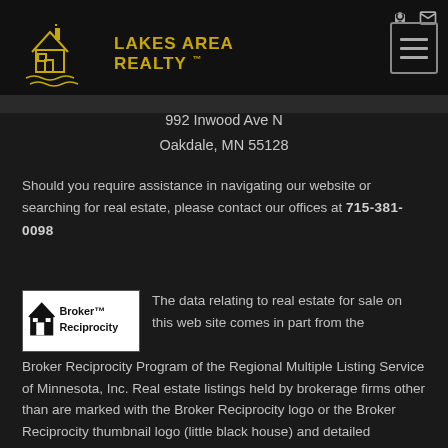Lakes Area Realty™
992 Inwood Ave N
Oakdale, MN 55128
Should you require assistance in navigating our website or searching for real estate, please contact our offices at 715-381-0098
[Figure (logo): Broker Reciprocity logo with small black house icon and text 'Broker Reciprocity']
The data relating to real estate for sale on this web site comes in part from the Broker Reciprocity Program of the Regional Multiple Listing Service of Minnesota, Inc. Real estate listings held by brokerage firms other than are marked with the Broker Reciprocity logo or the Broker Reciprocity thumbnail logo (little black house) and detailed information about them includes the name of the listing